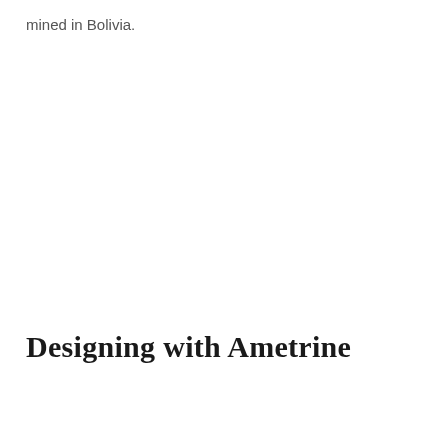mined in Bolivia.
Designing with Ametrine